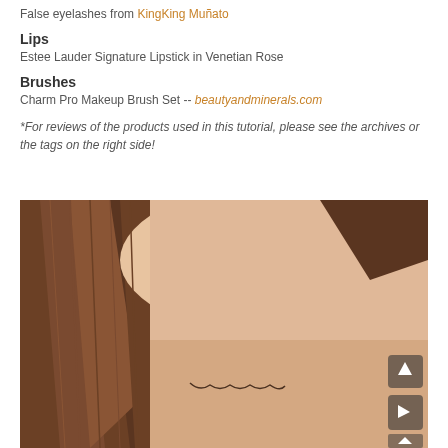False eyelashes from KingKing Muñato
Lips
Estee Lauder Signature Lipstick in Venetian Rose
Brushes
Charm Pro Makeup Brush Set -- beautyandminerals.com
*For reviews of the products used in this tutorial, please see the archives or the tags on the right side!
[Figure (photo): Close-up photo of a woman with brown hair, eyes closed, showing eyebrows and upper face area used in a makeup tutorial]